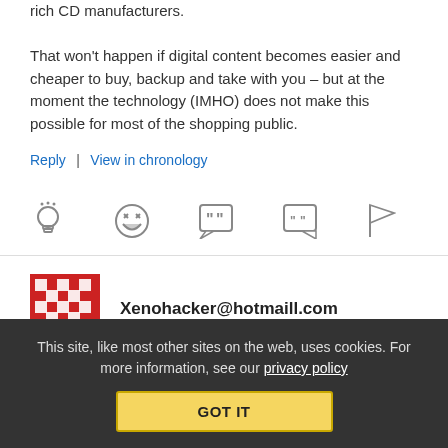rich CD manufacturers. That won't happen if digital content becomes easier and cheaper to buy, backup and take with you – but at the moment the technology (IMHO) does not make this possible for most of the shopping public.
Reply | View in chronology
[Figure (infographic): Row of five grey icons: lightbulb, laughing face emoji, speech bubble with quote marks, speech bubble with quote marks (smaller), and a flag]
[Figure (illustration): Red and white geometric pattern avatar (pixel art style)]
Xenohacker@hotmaill.com
November 15, 2006 at 3:19 pm
This site, like most other sites on the web, uses cookies. For more information, see our privacy policy GOT IT